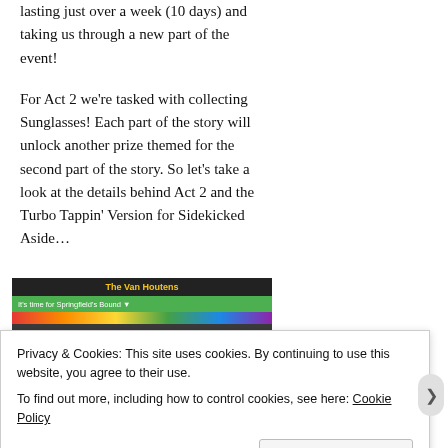lasting just over a week (10 days) and taking us through a new part of the event!
For Act 2 we're tasked with collecting Sunglasses!  Each part of the story will unlock another prize themed for the second part of the story.  So let's take a look at the details behind Act 2 and the Turbo Tappin' Version for Sidekicked Aside…
[Figure (screenshot): Screenshot of a game or website interface showing 'The Van Houtens' heading with a green banner reading 'It's time for Springfield's Bound' and a colorful bar below.]
Privacy & Cookies: This site uses cookies. By continuing to use this website, you agree to their use.
To find out more, including how to control cookies, see here: Cookie Policy
Close and accept